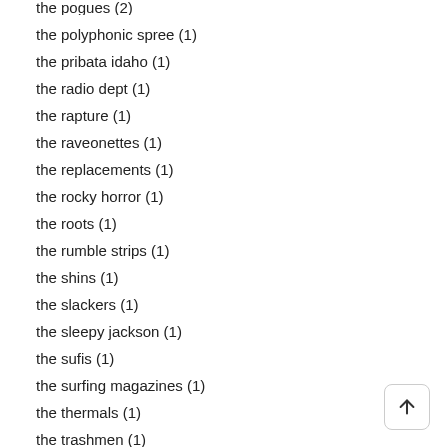the pogues (2)
the polyphonic spree (1)
the pribata idaho (1)
the radio dept (1)
the rapture (1)
the raveonettes (1)
the replacements (1)
the rocky horror (1)
the roots (1)
the rumble strips (1)
the shins (1)
the slackers (1)
the sleepy jackson (1)
the sufis (1)
the surfing magazines (1)
the thermals (1)
the trashmen (1)